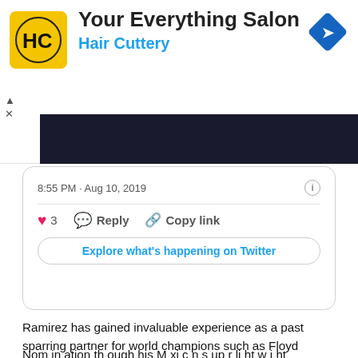[Figure (infographic): Hair Cuttery advertisement banner with yellow logo showing HC letters, title 'Your Everything Salon', subtitle 'Hair Cuttery', and blue diamond navigation arrow icon on top right]
[Figure (screenshot): Twitter/X tweet card showing timestamp '8:55 PM · Aug 10, 2019', info icon, heart reaction count of 3, Reply button, Copy link button, and 'Explore what's happening on Twitter' button]
Ramirez has gained invaluable experience as a past sparring partner for world champions such as Floyd Mayweather, Jr., Shane Mosely, and Jose Luis Castillo. This bout against Coyle will be his ring debut for 2019 after being victorious in his last contest against fight veteran Alejandro Valladareslast November.
Nom in ation th ough his M xi c n s up r li ht w i ht